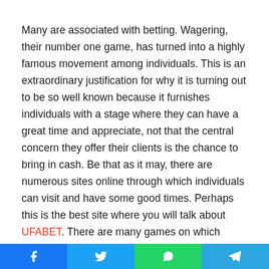Many are associated with betting. Wagering, their number one game, has turned into a highly famous movement among individuals. This is an extraordinary justification for why it is turning out to be so well known because it furnishes individuals with a stage where they can have a great time and appreciate, not that the central concern they offer their clients is the chance to bring in cash. Be that as it may, there are numerous sites online through which individuals can visit and have some good times. Perhaps this is the best site where you will talk about UFABET. There are many games on which individuals can play various sorts and bet on them on this site.
In any case, it is additionally known for wagering on football. Football is a game that has acquired fame among individuals
[Figure (infographic): Social sharing bar with Facebook, Twitter, WhatsApp, and Telegram buttons]